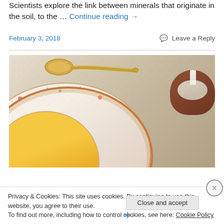Scientists explore the link between minerals that originate in the soil, to the ... Continue reading →
February 3, 2018    💬 Leave a Reply
[Figure (photo): Close-up photo of a decorative china bowl with floral rim pattern containing yellow soup, a silver spoon above it, and a small clay bowl with cream in the upper right corner, on a white lace tablecloth.]
Privacy & Cookies: This site uses cookies. By continuing to use this website, you agree to their use.
To find out more, including how to control cookies, see here: Cookie Policy
Close and accept